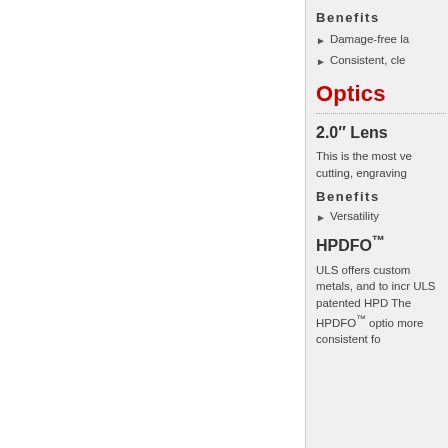Benefits
Damage-free la
Consistent, cle
Optics
2.0" Lens
This is the most ve cutting, engraving
Benefits
Versatility
HPDFO™
ULS offers custom metals, and to incr ULS patented HPD The HPDFO™ optio more consistent fo